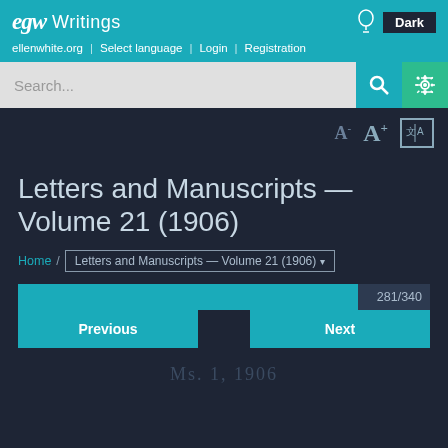EGW Writings | ellenwhite.org | Select language | Login | Registration
[Figure (screenshot): Search bar with search and settings icons]
Letters and Manuscripts — Volume 21 (1906)
Home / Letters and Manuscripts — Volume 21 (1906)
281/340
Previous    Next